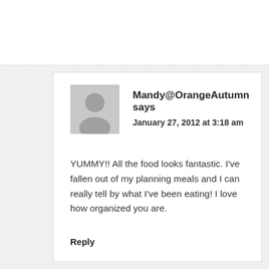[Figure (illustration): Gray avatar placeholder icon showing a generic person silhouette]
Mandy@OrangeAutumn says
January 27, 2012 at 3:18 am
YUMMY!! All the food looks fantastic. I've fallen out of my planning meals and I can really tell by what I've been eating! I love how organized you are.
Reply